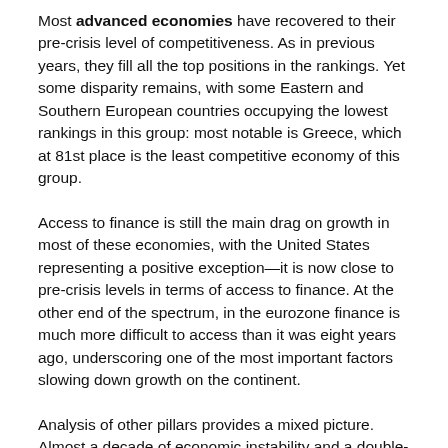Most advanced economies have recovered to their pre-crisis level of competitiveness. As in previous years, they fill all the top positions in the rankings. Yet some disparity remains, with some Eastern and Southern European countries occupying the lowest rankings in this group: most notable is Greece, which at 81st place is the least competitive economy of this group.
Access to finance is still the main drag on growth in most of these economies, with the United States representing a positive exception—it is now close to pre-crisis levels in terms of access to finance. At the other end of the spectrum, in the eurozone finance is much more difficult to access than it was eight years ago, underscoring one of the most important factors slowing down growth on the continent.
Analysis of other pillars provides a mixed picture. Almost a decade of economic instability and a double-dip recession have eroded trust in public institutions since 2007 in most advanced economies, especially in Southern Europe. At the same time, the quality of infrastructure improved in Southern Europe, with Italy showing the highest growth, especially in the railway sector, the last showing strong and improving competiti...